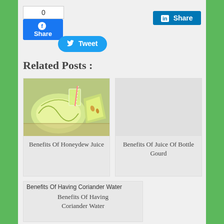[Figure (screenshot): Social share buttons: Facebook Share with count 0, LinkedIn Share, and Twitter Tweet buttons]
Related Posts :
[Figure (photo): Photo of honeydew melon slices and juice]
Benefits Of Honeydew Juice
[Figure (photo): Placeholder image for Benefits Of Juice Of Bottle Gourd]
Benefits Of Juice Of Bottle Gourd
[Figure (photo): Broken image for Benefits Of Having Coriander Water]
Benefits Of Having Coriander Water